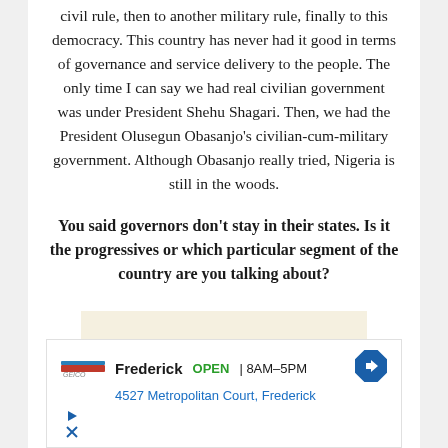civil rule, then to another military rule, finally to this democracy. This country has never had it good in terms of governance and service delivery to the people. The only time I can say we had real civilian government was under President Shehu Shagari. Then, we had the President Olusegun Obasanjo's civilian-cum-military government. Although Obasanjo really tried, Nigeria is still in the woods.
You said governors don't stay in their states. Is it the progressives or which particular segment of the country are you talking about?
[Figure (other): Advertisement box showing Frederick location with OPEN 8AM-5PM hours, address 4527 Metropolitan Court, Frederick, with a navigation arrow icon and play/close icons.]